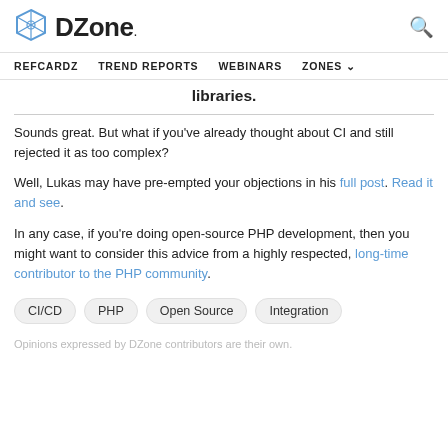DZone. [logo] [search icon]
REFCARDZ  TREND REPORTS  WEBINARS  ZONES
libraries.
Sounds great. But what if you've already thought about CI and still rejected it as too complex?
Well, Lukas may have pre-empted your objections in his full post. Read it and see.
In any case, if you're doing open-source PHP development, then you might want to consider this advice from a highly respected, long-time contributor to the PHP community.
CI/CD
PHP
Open Source
Integration
Opinions expressed by DZone contributors are their own.